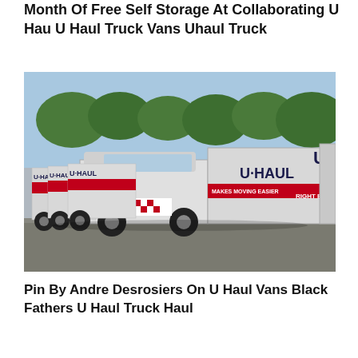Month Of Free Self Storage At Collaborating U Hau U Haul Truck Vans Uhaul Truck
[Figure (photo): Row of white U-Haul moving trucks parked in a lot, with red U-HAUL branding on the sides, trees visible in the background, sunny day.]
Pin By Andre Desrosiers On U Haul Vans Black Fathers U Haul Truck Haul